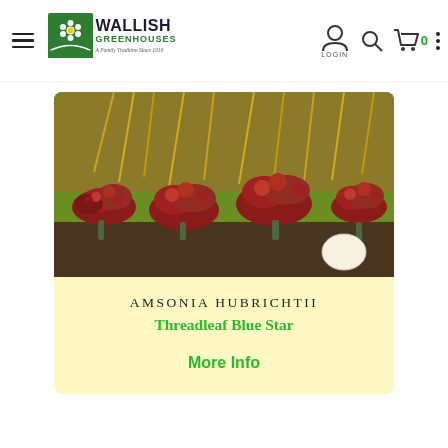Wallish Greenhouses — A Family Tradition Since 1919
[Figure (photo): Photo of Amsonia hubrichtii plant with red-pink flowers and golden ornamental grass in background]
AMSONIA HUBRICHTII
Threadleaf Blue Star
More Info
[Figure (photo): Close-up photo of a blue/purple anemone flower with white highlights and dark center]